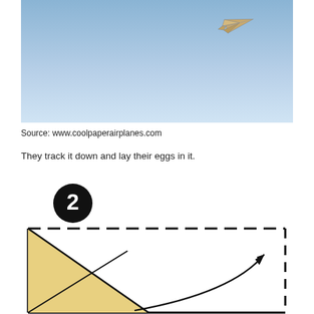[Figure (photo): A paper airplane in flight against a blue sky background]
Source: www.coolpaperairplanes.com
They track it down and lay their eggs in it.
[Figure (illustration): Step 2 diagram for folding a paper airplane. Shows a black circle with white number 2, a rectangle outlined with dashed top and right borders, a yellow triangle on the left side, and a curved arrow pointing toward the upper right.]